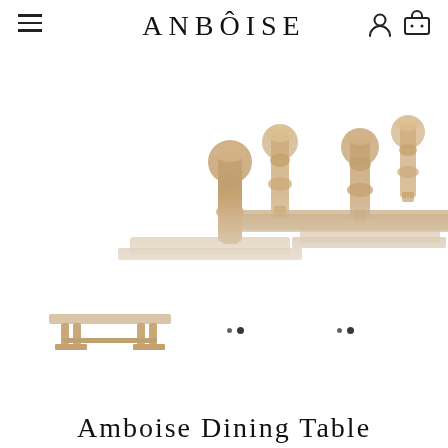ANBÔISE
[Figure (photo): Close-up of a wooden trestle dining table base with four ornate baluster-style legs and a stretcher beam, photographed from below at an angle. The wood has a weathered, light oak finish.]
[Figure (photo): Small thumbnail image of the full Amboise dining table showing the complete rectangular tabletop with trestle base, light weathered oak finish.]
Amboise Dining Table